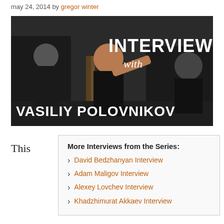may 24, 2014 by gregor winter
[Figure (photo): Interview thumbnail image with text 'INTERVIEW with VASILIY POLOVNIKOV' overlaid on a gym scene with athletes]
This
More Interviews from the Series:
David Bedzhanyan Interview
Adam Maligov Interview
Alexey Lovchev Interview
Khadzhimurat Akkaev Interview